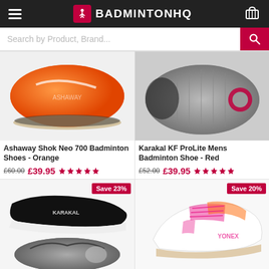BADMINTONHQ
Search by Product, Brand...
[Figure (photo): Ashaway Shok Neo 700 Badminton Shoes - Orange, shown from side and sole view]
Ashaway Shok Neo 700 Badminton Shoes - Orange
£60.00 £39.95 ★★★★★
[Figure (photo): Karakal KF ProLite Mens Badminton Shoe - Red, shown from sole view]
Karakal KF ProLite Mens Badminton Shoe - Red
£52.00 £39.95 ★★★★★
[Figure (photo): Black Karakal badminton shoe shown from side and sole, Save 23% badge]
[Figure (photo): White/pink Yonex badminton shoe, Save 20% badge]